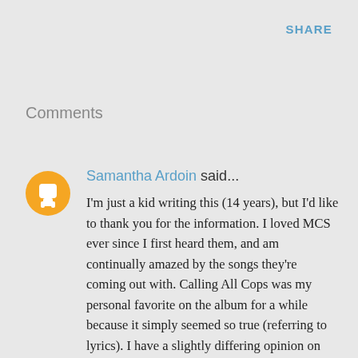SHARE
Comments
Samantha Ardoin said...
I'm just a kid writing this (14 years), but I'd like to thank you for the information. I loved MCS ever since I first heard them, and am continually amazed by the songs they're coming out with. Calling All Cops was my personal favorite on the album for a while because it simply seemed so true (referring to lyrics). I have a slightly differing opinion on Hello Helicopter, though it may not be what the band originally specified as the meaning. I think it's more than just the Iraq